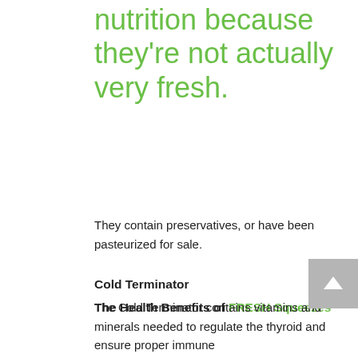nutrition because they're not actually very fresh.
They contain preservatives, or have been pasteurized for sale.
The Health Benefits of FRESH Squeezes
Our delicious Squeezes are crafted with only pure juices to deliver maximum nutrition to you.
Cold Terminator
The Cold Terminator contains vitamins and minerals needed to regulate the thyroid and ensure proper immune